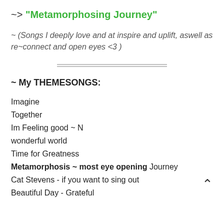~> "Metamorphosing Journey"
~ (Songs I deeply love and at inspire and uplift, aswell as re~connect and open eyes <3 )
[Figure (other): Double horizontal divider line]
~ My THEMESONGS:
Imagine
Together
Im Feeling good ~ N
wonderful world
Time for Greatness
Metamorphosis ~ most eye opening Journey
Cat Stevens - if you want to sing out
Beautiful Day - Grateful